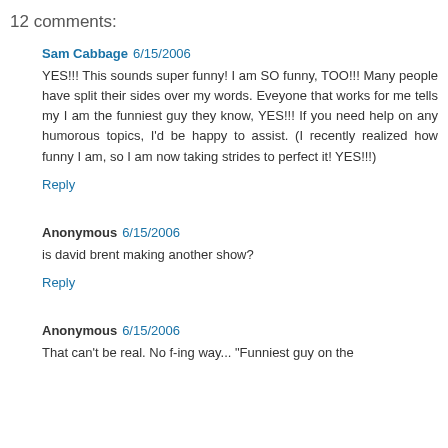12 comments:
Sam Cabbage 6/15/2006
YES!!! This sounds super funny! I am SO funny, TOO!!! Many people have split their sides over my words. Eveyone that works for me tells my I am the funniest guy they know, YES!!! If you need help on any humorous topics, I'd be happy to assist. (I recently realized how funny I am, so I am now taking strides to perfect it! YES!!!)
Reply
Anonymous 6/15/2006
is david brent making another show?
Reply
Anonymous 6/15/2006
That can't be real. No f-ing way... "Funniest guy on the